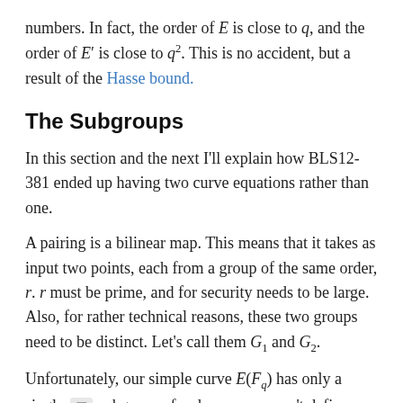numbers. In fact, the order of E is close to q, and the order of E′ is close to q². This is no accident, but a result of the Hasse bound.
The Subgroups
In this section and the next I'll explain how BLS12-381 ended up having two curve equations rather than one.
A pairing is a bilinear map. This means that it takes as input two points, each from a group of the same order, r. r must be prime, and for security needs to be large. Also, for rather technical reasons, these two groups need to be distinct. Let's call them G₁ and G₂.
Unfortunately, our simple curve E(F_q) has only a single subgroup of order r, so we can't define a pairing based solely on E(F_q).
However, if we keep extending the field over which E is